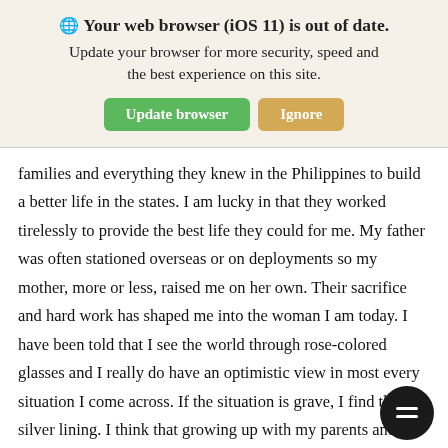🌐 Your web browser (iOS 11) is out of date. Update your browser for more security, speed and the best experience on this site.
families and everything they knew in the Philippines to build a better life in the states. I am lucky in that they worked tirelessly to provide the best life they could for me. My father was often stationed overseas or on deployments so my mother, more or less, raised me on her own. Their sacrifice and hard work has shaped me into the woman I am today. I have been told that I see the world through rose-colored glasses and I really do have an optimistic view in most every situation I come across. If the situation is grave, I find the silver lining. I think that growing up with my parents and witnessing first hand that hard work pays off what made me this way. So, as a reflection of the hope my parents instilled in me, I try to bring positivity, laughter